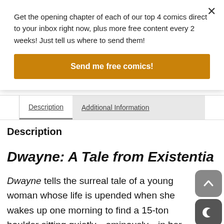Get the opening chapter of each of our top 4 comics direct to your inbox right now, plus more free content every 2 weeks! Just tell us where to send them!
Send me free comics!
Description   Additional Information
Description
Dwayne: A Tale from Existentia
Dwayne tells the surreal tale of a young woman whose life is upended when she wakes up one morning to find a 15-ton boulder sitting quietly—ominously—in her living room.